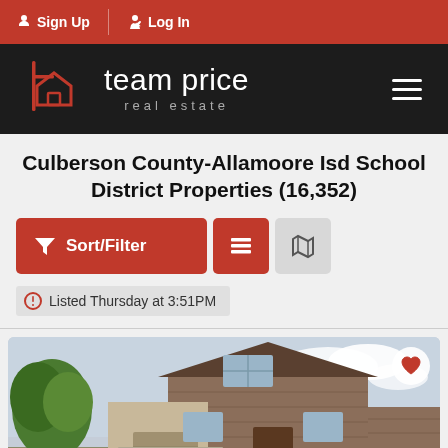Sign Up | Log In
[Figure (logo): Team Price Real Estate logo — house icon outline in red on black background with white text]
Culberson County-Allamoore Isd School District Properties (16,352)
Sort/Filter | List view | Map view buttons
Listed Thursday at 3:51PM
[Figure (photo): Exterior photo of a brick two-story house with a green tree on the left and a cloudy sky, with a heart/favorite icon in the top right corner]